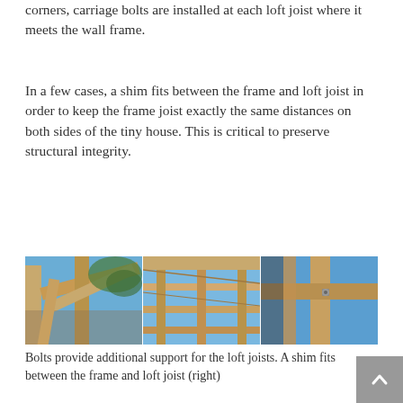corners, carriage bolts are installed at each loft joist where it meets the wall frame.
In a few cases, a shim fits between the frame and loft joist in order to keep the frame joist exactly the same distances on both sides of the tiny house. This is critical to preserve structural integrity.
[Figure (photo): Three side-by-side construction photos showing wooden framing of a tiny house: left photo shows corner framing from below against blue sky, middle photo shows overhead view of loft joist framing grid, right photo shows close-up of a bolt connection on wooden frame against blue sky.]
Bolts provide additional support for the loft joists. A shim fits between the frame and loft joist (right)